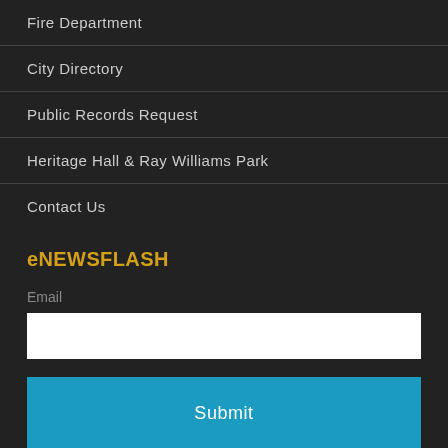Fire Department
City Directory
Public Records Request
Heritage Hall & Ray Williams Park
Contact Us
eNEWSFLASH
Email
Submit